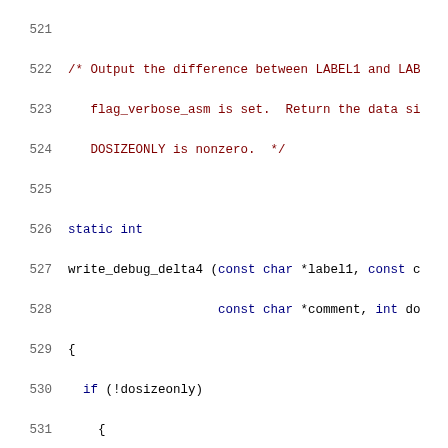[Figure (screenshot): Source code listing showing lines 521-541 of a C program. The code shows a function write_debug_delta4 with comments, static int declaration, function parameters, if statement checking dosizeonly, ASM_OUTPUT_DEBUG_DELTA4 call, flag_verbose_asm check, fprintf and fputc calls, return 4 statement, closing braces, and a new comment starting at line 541.]